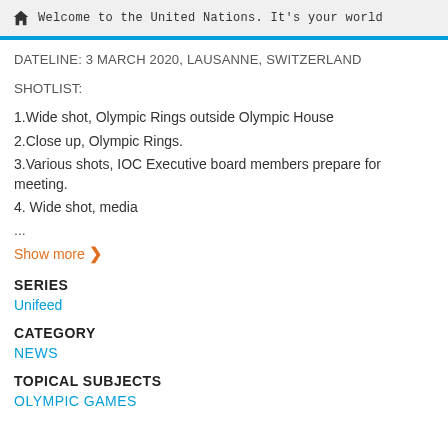Welcome to the United Nations. It's your world
DATELINE: 3 MARCH 2020, LAUSANNE, SWITZERLAND
SHOTLIST:
1.Wide shot, Olympic Rings outside Olympic House
2.Close up, Olympic Rings.
3.Various shots, IOC Executive board members prepare for meeting.
4. Wide shot, media
...
Show more ❯
SERIES
Unifeed
CATEGORY
NEWS
TOPICAL SUBJECTS
OLYMPIC GAMES